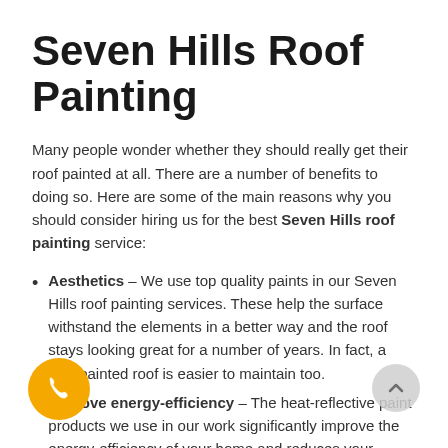Seven Hills Roof Painting
Many people wonder whether they should really get their roof painted at all. There are a number of benefits to doing so. Here are some of the main reasons why you should consider hiring us for the best Seven Hills roof painting service:
Aesthetics – We use top quality paints in our Seven Hills roof painting services. These help the surface withstand the elements in a better way and the roof stays looking great for a number of years. In fact, a well-painted roof is easier to maintain too.
Improve energy-efficiency – The heat-reflective paint products we use in our work significantly improve the energy-efficiency of your home and reduces your electricity bills